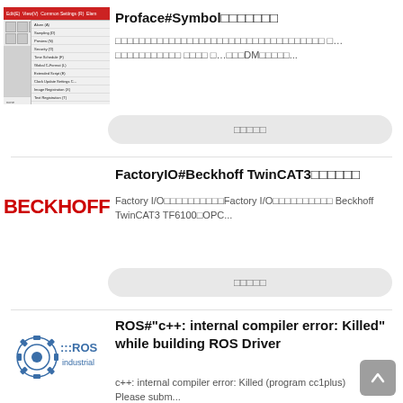Proface#Symbol□□□□□□□
[Figure (screenshot): Screenshot of Proface software menu showing Common Settings dropdown with Symbol Mamoria PX option highlighted]
□□□□□□□□□□□□□□□□□□□□□□□□□□□□□□□□□□□ □…□□□□□□□□□□□ □□□□ □…□□□DM□□□□□...
□□□□□
FactoryIO#Beckhoff TwinCAT3□□□□□□
[Figure (logo): BECKHOFF logo in red bold letters]
Factory I/O□□□□□□□□□□Factory I/O□□□□□□□□□□ Beckhoff TwinCAT3 TF6100□OPC...
□□□□□
ROS#"c++: internal compiler error: Killed" while building ROS Driver
[Figure (logo): ROS Industrial logo with robot arm and ROS Industrial text]
c++: internal compiler error: Killed (program cc1plus) Please subm...